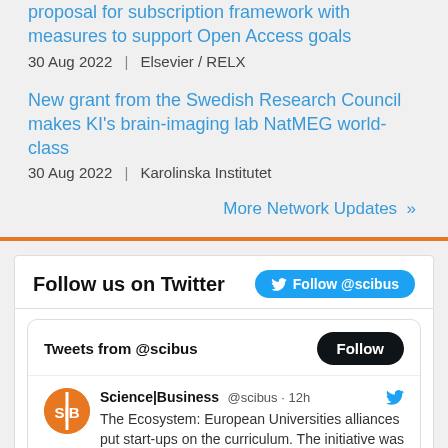proposal for subscription framework with measures to support Open Access goals
30 Aug 2022  |  Elsevier / RELX
New grant from the Swedish Research Council makes KI's brain-imaging lab NatMEG world-class
30 Aug 2022  |  Karolinska Institutet
More Network Updates »
Follow us on Twitter
Tweets from @scibus
Science|Business @scibus · 12h
The Ecosystem: European Universities alliances put start-ups on the curriculum. The initiative was conceived to develop